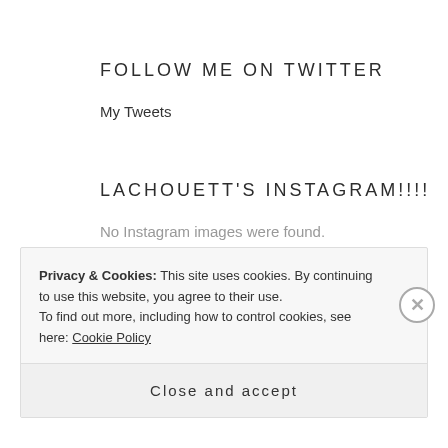FOLLOW ME ON TWITTER
My Tweets
LACHOUETT'S INSTAGRAM!!!!
No Instagram images were found.
Privacy & Cookies: This site uses cookies. By continuing to use this website, you agree to their use.
To find out more, including how to control cookies, see here: Cookie Policy
Close and accept